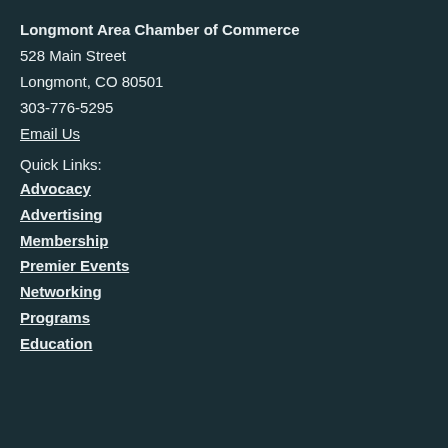Longmont Area Chamber of Commerce
528 Main Street
Longmont, CO 80501
303-776-5295
Email Us
Quick Links:
Advocacy
Advertising
Membership
Premier Events
Networking
Programs
Education